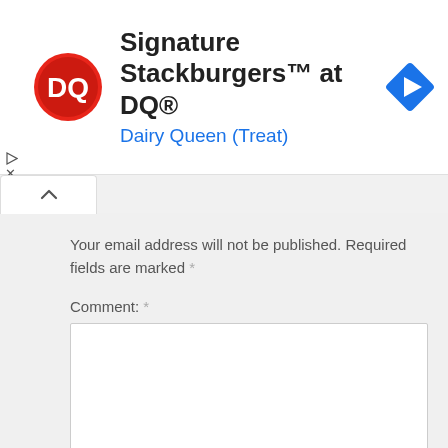[Figure (screenshot): Dairy Queen ad banner with DQ logo, title 'Signature Stackburgers™ at DQ®', subtitle 'Dairy Queen (Treat)', and navigation arrow icon]
Your email address will not be published. Required fields are marked *
Comment: *
Name: *